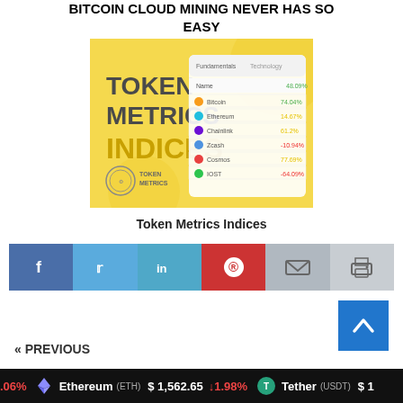BITCOIN CLOUD MINING NEVER HAS SO EASY
[Figure (illustration): Token Metrics Indices promotional image with yellow background showing a dashboard interface with cryptocurrency data, TOKEN METRICS INDICES text, and Token Metrics logo]
Token Metrics Indices
[Figure (infographic): Social sharing buttons row: Facebook (dark blue), Twitter (light blue), LinkedIn (medium blue), Pinterest (red), Email (light gray), Print (gray)]
[Figure (other): Blue back-to-top button with upward arrow chevron]
« PREVIOUS
.06%  Ethereum (ETH)  $1,562.65  ↓1.98%  Tether (USDT)  $1